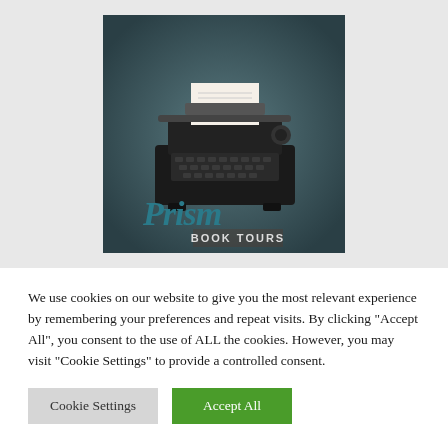[Figure (logo): Prism Book Tours logo featuring a vintage typewriter illustration on a dark teal/grey background with cursive text 'Prism' and block letters 'BOOK TOURS' below]
We use cookies on our website to give you the most relevant experience by remembering your preferences and repeat visits. By clicking "Accept All", you consent to the use of ALL the cookies. However, you may visit "Cookie Settings" to provide a controlled consent.